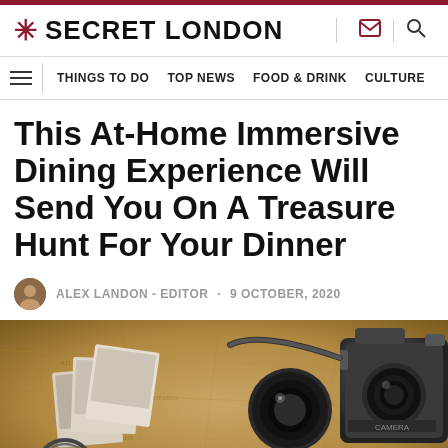SECRET LONDON
THINGS TO DO | TOP NEWS | FOOD & DRINK | CULTURE
This At-Home Immersive Dining Experience Will Send You On A Treasure Hunt For Your Dinner
ALEX LANDON - EDITOR · 9 OCTOBER, 2020
[Figure (photo): Flat lay photograph of a vintage film camera, a magnifying glass, old polaroid photos, and a compass/lens on a worn antique map background, in warm sepia tones.]